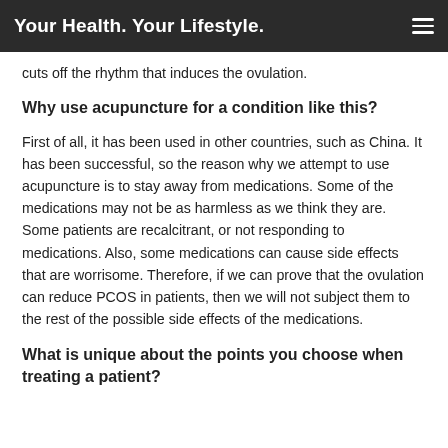Your Health. Your Lifestyle.
cuts off the rhythm that induces the ovulation.
Why use acupuncture for a condition like this?
First of all, it has been used in other countries, such as China. It has been successful, so the reason why we attempt to use acupuncture is to stay away from medications. Some of the medications may not be as harmless as we think they are. Some patients are recalcitrant, or not responding to medications. Also, some medications can cause side effects that are worrisome. Therefore, if we can prove that the ovulation can reduce PCOS in patients, then we will not subject them to the rest of the possible side effects of the medications.
What is unique about the points you choose when treating a patient?